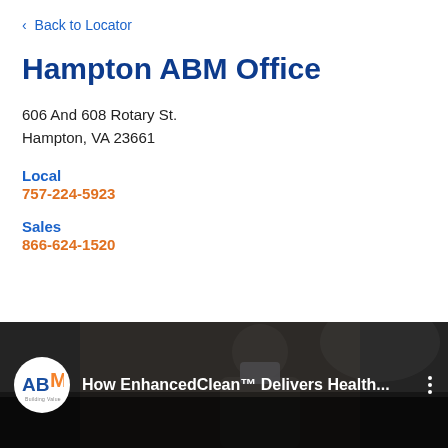< Back to Locator
Hampton ABM Office
606 And 608 Rotary St.
Hampton, VA 23661
Local
757-224-5923
Sales
866-624-1520
[Figure (screenshot): ABM video thumbnail showing 'How EnhancedClean™ Delivers Health...' with ABM logo and person wearing mask]